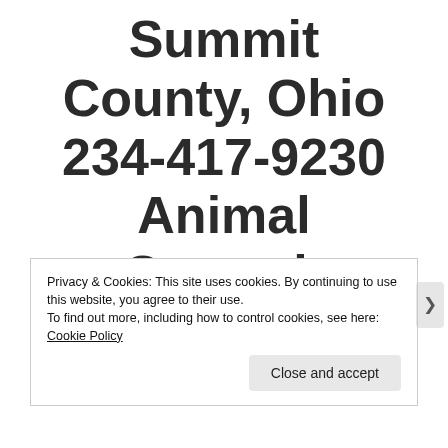Summit County, Ohio 234-417-9230 Animal Control-Wildlife
Privacy & Cookies: This site uses cookies. By continuing to use this website, you agree to their use.
To find out more, including how to control cookies, see here: Cookie Policy